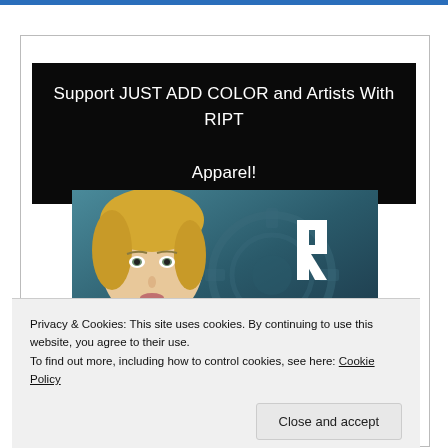Support JUST ADD COLOR and Artists With RIPT Apparel!
[Figure (photo): A blonde woman's portrait on the left side, with a teal/dark robotic gear background and a stylized 'R' logo on the right side. Below is another partial image with a darker blue/mechanical theme.]
Privacy & Cookies: This site uses cookies. By continuing to use this website, you agree to their use.
To find out more, including how to control cookies, see here: Cookie Policy
Close and accept